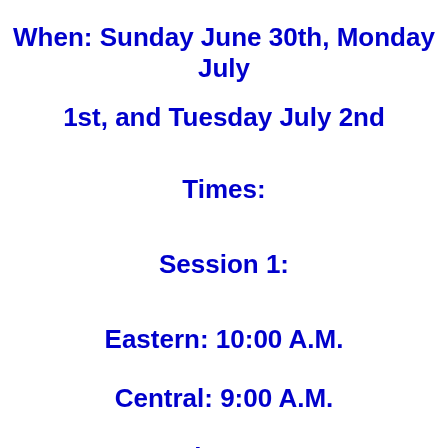When: Sunday June 30th, Monday July 1st, and Tuesday July 2nd
Times:
Session 1:
Eastern: 10:00 A.M.
Central: 9:00 A.M.
Mountain: 8:00 A.M.